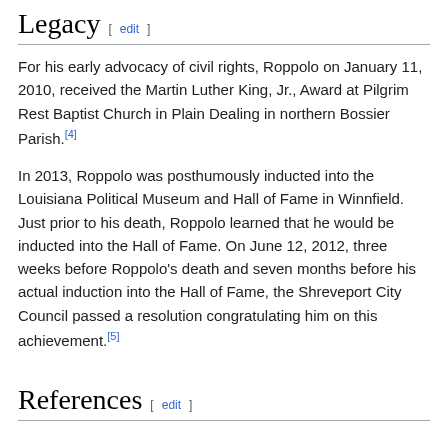Legacy [edit]
For his early advocacy of civil rights, Roppolo on January 11, 2010, received the Martin Luther King, Jr., Award at Pilgrim Rest Baptist Church in Plain Dealing in northern Bossier Parish.[4]
In 2013, Roppolo was posthumously inducted into the Louisiana Political Museum and Hall of Fame in Winnfield. Just prior to his death, Roppolo learned that he would be inducted into the Hall of Fame. On June 12, 2012, three weeks before Roppolo's death and seven months before his actual induction into the Hall of Fame, the Shreveport City Council passed a resolution congratulating him on this achievement.[5]
References [edit]